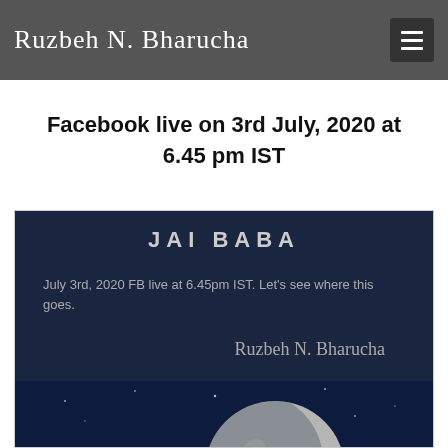Ruzbeh N. Bharucha
Facebook live on 3rd July, 2020 at 6.45 pm IST
[Figure (illustration): Dark blue night sky image with a large moon and silhouetted trees. Text overlay reads: JAI BABA, July 3rd, 2020 FB live at 6.45pm IST. Let's see where this goes. Ruzbeh N. Bharucha]